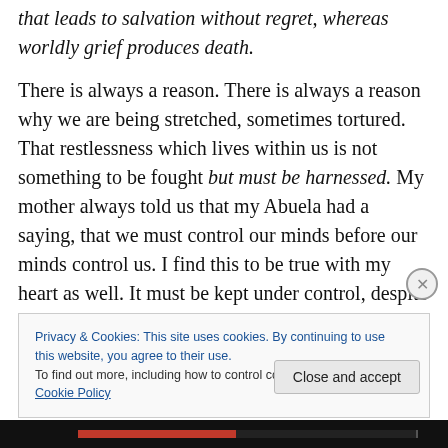that leads to salvation without regret, whereas worldly grief produces death.
There is always a reason. There is always a reason why we are being stretched, sometimes tortured. That restlessness which lives within us is not something to be fought but must be harnessed. My mother always told us that my Abuela had a saying, that we must control our minds before our minds control us. I find this to be true with my heart as well. It must be kept under control, despite well meaning friends imploring, “You can’t help
Privacy & Cookies: This site uses cookies. By continuing to use this website, you agree to their use.
To find out more, including how to control cookies, see here: Cookie Policy